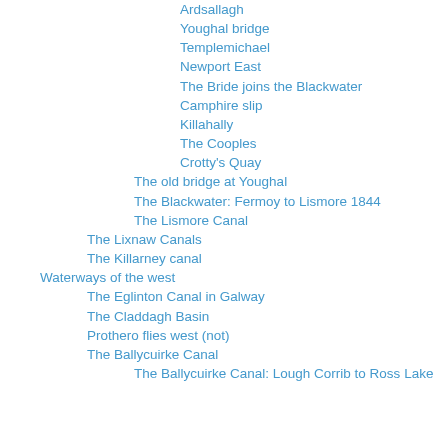Ardsallagh
Youghal bridge
Templemichael
Newport East
The Bride joins the Blackwater
Camphire slip
Killahally
The Cooples
Crotty's Quay
The old bridge at Youghal
The Blackwater: Fermoy to Lismore 1844
The Lismore Canal
The Lixnaw Canals
The Killarney canal
Waterways of the west
The Eglinton Canal in Galway
The Claddagh Basin
Prothero flies west (not)
The Ballycuirke Canal
The Ballycuirke Canal: Lough Corrib to Ross Lake